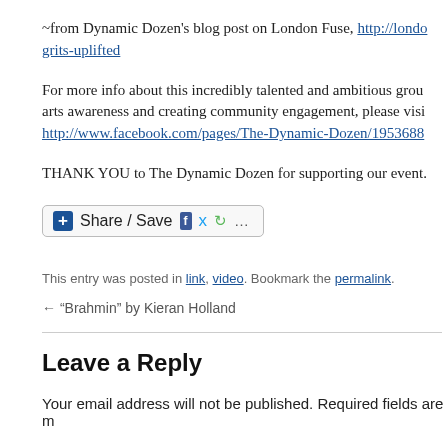~from Dynamic Dozen's blog post on London Fuse, http://londo...grits-uplifted
For more info about this incredibly talented and ambitious group...arts awareness and creating community engagement, please visi...http://www.facebook.com/pages/The-Dynamic-Dozen/1953688...
THANK YOU to The Dynamic Dozen for supporting our event.
[Figure (other): Share / Save social sharing button with Facebook, Twitter, and More Options icons]
This entry was posted in link, video. Bookmark the permalink.
← "Brahmin" by Kieran Holland
Leave a Reply
Your email address will not be published. Required fields are m